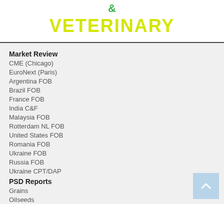& VETERINARY
Market Review
CME (Chicago)
EuroNext (Paris)
Argentina FOB
Brazil FOB
France FOB
India C&F
Malaysia FOB
Rotterdam NL FOB
United States FOB
Romania FOB
Ukraine FOB
Russia FOB
Ukraine CPT/DAP
PSD Reports
Grains
Oilseeds